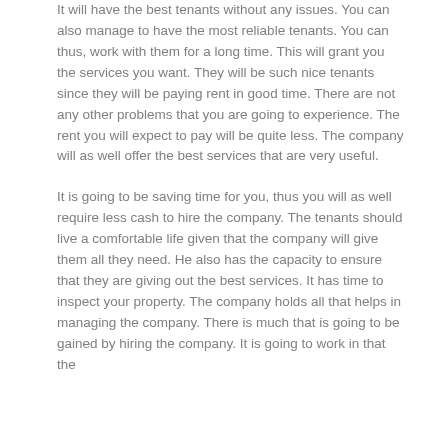It will have the best tenants without any issues. You can also manage to have the most reliable tenants. You can thus, work with them for a long time. This will grant you the services you want. They will be such nice tenants since they will be paying rent in good time. There are not any other problems that you are going to experience. The rent you will expect to pay will be quite less. The company will as well offer the best services that are very useful.
It is going to be saving time for you, thus you will as well require less cash to hire the company. The tenants should live a comfortable life given that the company will give them all they need. He also has the capacity to ensure that they are giving out the best services. It has time to inspect your property. The company holds all that helps in managing the company. There is much that is going to be gained by hiring the company. It is going to work in that the